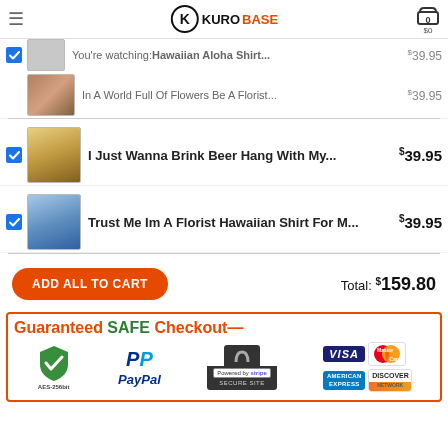KUROBASE
You're watching: Hawaiian Aloha Shirt... $39.95
In A World Full Of Flowers Be A Florist... $39.95
I Just Wanna Brink Beer Hang With My... $39.95
Trust Me Im A Florist Hawaiian Shirt For M... $39.95
ADD ALL TO CART  Total: $159.80
[Figure (infographic): Guaranteed SAFE Checkout banner with payment icons: AES-256bit shield, PayPal, Stripe Secure Site lock, Visa, MasterCard, American Express, Discover Network]
Guaranteed SAFE Checkout